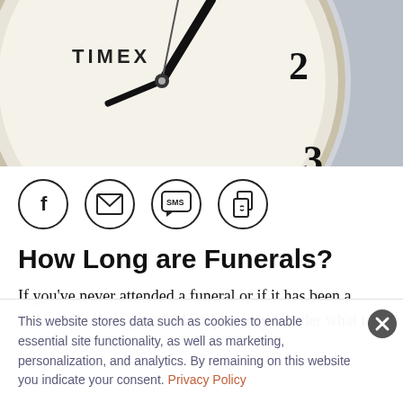[Figure (photo): Close-up photograph of a Timex analog clock face showing approximately 1:58, with large black numerals (12, 2, 3 visible) on a cream dial with a beige bezel, set against a light grey background.]
[Figure (infographic): Four circular share icons in a row: Facebook (f), Email (envelope), SMS (speech bubble with SMS text), and Copy Link (two overlapping document pages with chain link).]
How Long are Funerals?
If you've never attended a funeral or if it has been a little while since you did last, you may wonder what to
This website stores data such as cookies to enable essential site functionality, as well as marketing, personalization, and analytics. By remaining on this website you indicate your consent. Privacy Policy